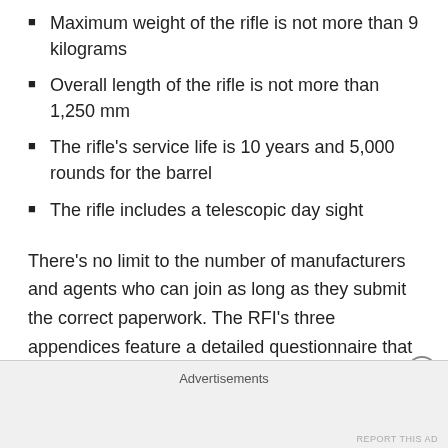Maximum weight of the rifle is not more than 9 kilograms
Overall length of the rifle is not more than 1,250 mm
The rifle's service life is 10 years and 5,000 rounds for the barrel
The rifle includes a telescopic day sight
There's no limit to the number of manufacturers and agents who can join as long as they submit the correct paperwork. The RFI's three appendices feature a detailed questionnaire that needs to be answered along with separate application forms tailored for foreign and local firms. The total cost for 1,800 sniper rifles and their ammunition isn't covered by the RFI although, should a
Advertisements